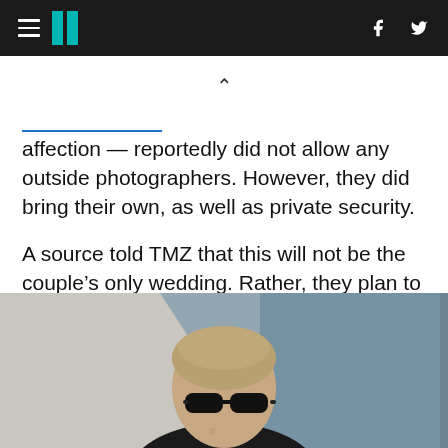HuffPost navigation with hamburger menu, logo, Facebook and Twitter icons
affection — reportedly did not allow any outside photographers. However, they did bring their own, as well as private security.
A source told TMZ that this will not be the couple's only wedding. Rather, they plan to have “several more.”
[Figure (photo): Person wearing black sunglasses with bleached/shaved hair, photographed from shoulders up against a light and blue-grey background]